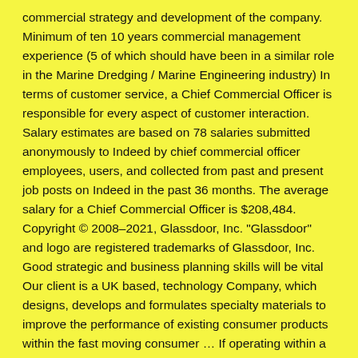commercial strategy and development of the company. Minimum of ten 10 years commercial management experience (5 of which should have been in a similar role in the Marine Dredging / Marine Engineering industry) In terms of customer service, a Chief Commercial Officer is responsible for every aspect of customer interaction. Salary estimates are based on 78 salaries submitted anonymously to Indeed by chief commercial officer employees, users, and collected from past and present job posts on Indeed in the past 36 months. The average salary for a Chief Commercial Officer is $208,484. Copyright © 2008–2021, Glassdoor, Inc. "Glassdoor" and logo are registered trademarks of Glassdoor, Inc. Good strategic and business planning skills will be vital Our client is a UK based, technology Company, which designs, develops and formulates specialty materials to improve the performance of existing consumer products within the fast moving consumer … If operating within a company that produces a product, one of the chief commercial officer's duties is to be in touch with, and receive reports from, any engineering teams so he can guide the company's value for the customer. Leverage your professional network, and get hired. As a corporate officer position, the CCO will report directly to the chief executive officer (CEO) and is primarily